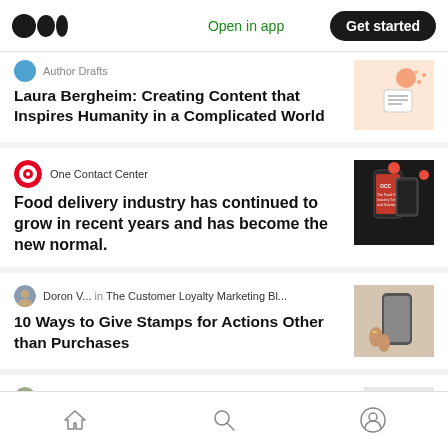Medium logo | Open in app | Get started
Laura Bergheim: Creating Content that Inspires Humanity in a Complicated World
One Contact Center — Food delivery industry has continued to grow in recent years and has become the new normal.
Doron V... in The Customer Loyalty Marketing Bl... — 10 Ways to Give Stamps for Actions Other than Purchases
John McElhenney in OpenSocial
Home | Search | Profile